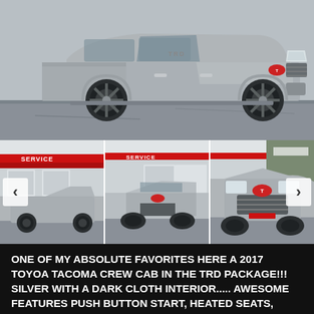[Figure (photo): Main large photo of a silver 2017 Toyota Tacoma TRD crew cab truck, side profile view, parked in a lot]
[Figure (photo): Thumbnail strip of three photos of the silver Toyota Tacoma at a dealership with Service sign visible, showing left-side view, front view, and front grille close-up. Navigation arrows on left and right.]
ONE OF MY ABSOLUTE FAVORITES HERE A 2017 TOYOA TACOMA CREW CAB IN THE TRD PACKAGE!!! SILVER WITH A DARK CLOTH INTERIOR..... AWESOME FEATURES PUSH BUTTON START, HEATED SEATS, BACK UP CAMERA, TRACTION CONTROL, SATTELITE RADIO, TONNEAU COVER, NAVIGATION, TOW PACKAGE, AND MORE!!!!UXBRIDGE AUTO SPENDS